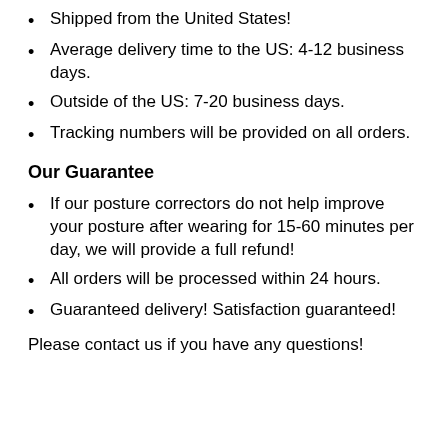Shipped from the United States!
Average delivery time to the US: 4-12 business days.
Outside of the US: 7-20 business days.
Tracking numbers will be provided on all orders.
Our Guarantee
If our posture correctors do not help improve your posture after wearing for 15-60 minutes per day, we will provide a full refund!
All orders will be processed within 24 hours.
Guaranteed delivery! Satisfaction guaranteed!
Please contact us if you have any questions!